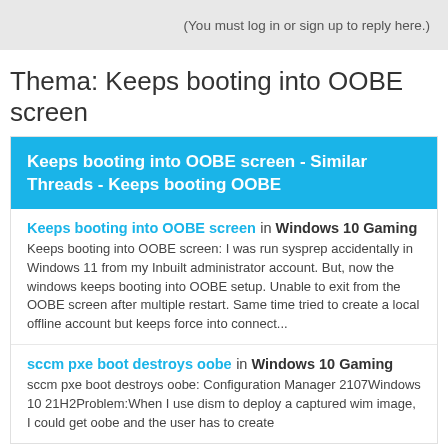(You must log in or sign up to reply here.)
Thema: Keeps booting into OOBE screen
Keeps booting into OOBE screen - Similar Threads - Keeps booting OOBE
Keeps booting into OOBE screen in Windows 10 Gaming
Keeps booting into OOBE screen: I was run sysprep accidentally in Windows 11 from my Inbuilt administrator account. But, now the windows keeps booting into OOBE setup. Unable to exit from the OOBE screen after multiple restart. Same time tried to create a local offline account but keeps force into connect...
sccm pxe boot destroys oobe in Windows 10 Gaming
sccm pxe boot destroys oobe: Configuration Manager 2107Windows 10 21H2Problem:When I use dism to deploy a captured wim image, I could get oobe and the user has to create